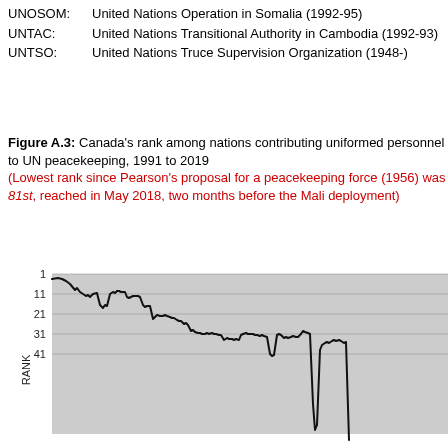UNPROFOR: United Nations Protection Force (1992-95)
UNOSOM: United Nations Operation in Somalia (1992-95)
UNTAC: United Nations Transitional Authority in Cambodia (1992-93)
UNTSO: United Nations Truce Supervision Organization (1948-)
Figure A.3: Canada's rank among nations contributing uniformed personnel to UN peacekeeping, 1991 to 2019 (Lowest rank since Pearson's proposal for a peacekeeping force (1956) was 81st, reached in May 2018, two months before the Mali deployment)
[Figure (continuous-plot): Line chart showing Canada's rank among nations contributing uniformed personnel to UN peacekeeping from 1991 to 2019. Y-axis labeled RANK with values 1, 11, 21, 31, 41 shown. The rank starts near 1 in 1991, gradually worsens (increases) over time with some fluctuations, reaching values around 30-35 in the 2010s, with a spike to about 43 around 2018 before the Mali deployment.]